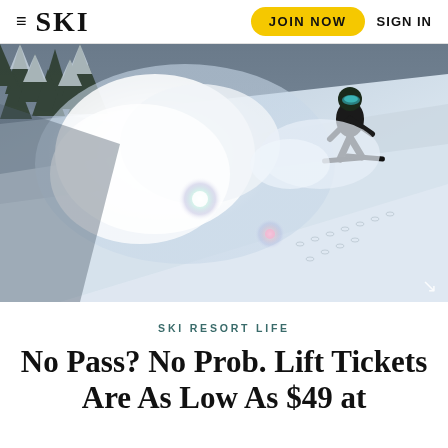≡ SKI  JOIN NOW  SIGN IN
[Figure (photo): Skier or snowboarder descending a steep snow-covered slope, creating a large powder cloud. Trees visible in top-left background. Snow-covered hillside with tracks visible. Lens flare present.]
SKI RESORT LIFE
No Pass? No Prob. Lift Tickets Are As Low As $49 at